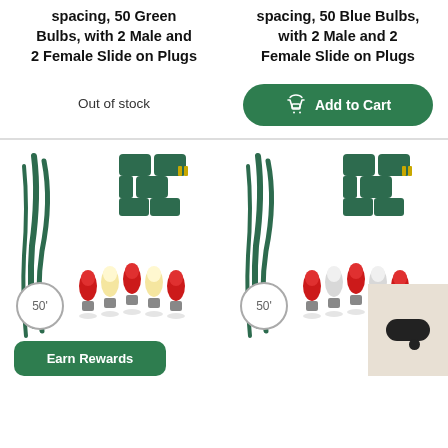spacing, 50 Green Bulbs, with 2 Male and 2 Female Slide on Plugs
spacing, 50 Blue Bulbs, with 2 Male and 2 Female Slide on Plugs
Out of stock
Add to Cart
[Figure (photo): Christmas light string with red and warm white C9 bulbs, green wire connectors, 50 foot badge]
[Figure (photo): Christmas light string with red and cool white C9 bulbs, green wire connectors, 50 foot badge]
Earn Rewards